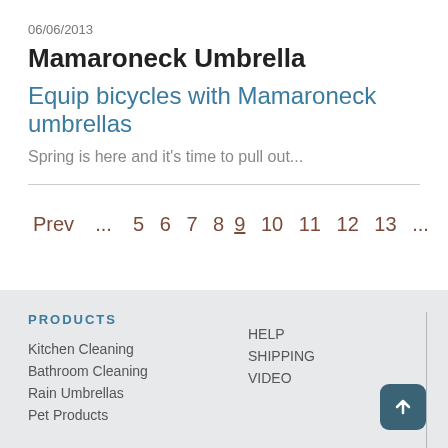06/06/2013
Mamaroneck Umbrella
Equip bicycles with Mamaroneck umbrellas
Spring is here and it's time to pull out...
Prev  ...  5  6  7  8  9  10  11  12  13  ...  next
PRODUCTS
Kitchen Cleaning
Bathroom Cleaning
Rain Umbrellas
Pet Products
HELP
SHIPPING
VIDEO